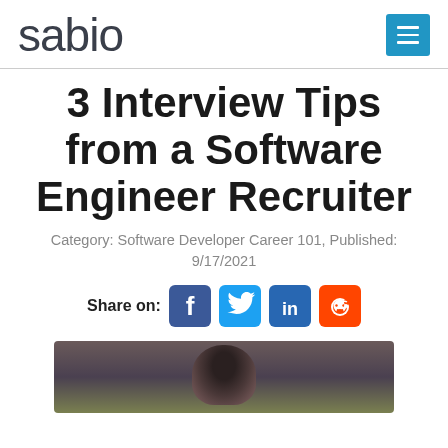sabio
3 Interview Tips from a Software Engineer Recruiter
Category: Software Developer Career 101, Published: 9/17/2021
Share on:
[Figure (photo): Blurry photo of what appears to be an animal (possibly a dog or similar) with dark fur, against a blurred green background, partially visible at bottom of page]